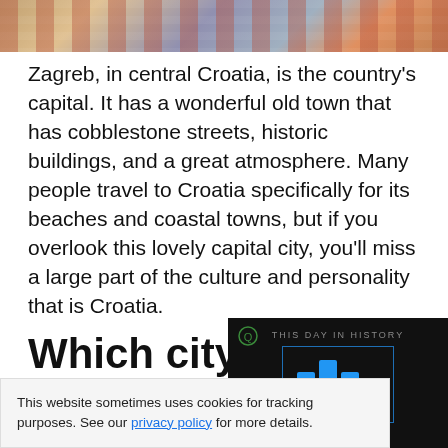[Figure (photo): Aerial or elevated view of Zagreb cityscape showing colorful buildings and rooftops]
Zagreb, in central Croatia, is the country's capital. It has a wonderful old town that has cobblestone streets, historic buildings, and a great atmosphere. Many people travel to Croatia specifically for its beaches and coastal towns, but if you overlook this lovely capital city, you'll miss a large part of the culture and personality that is Croatia.
Which city ... Zagreb or ...
[Figure (screenshot): Video player overlay showing 'This Day in History' with blue bar chart icon and play button, August label, mute icon]
This website sometimes uses cookies for tracking purposes. See our privacy policy for more details.